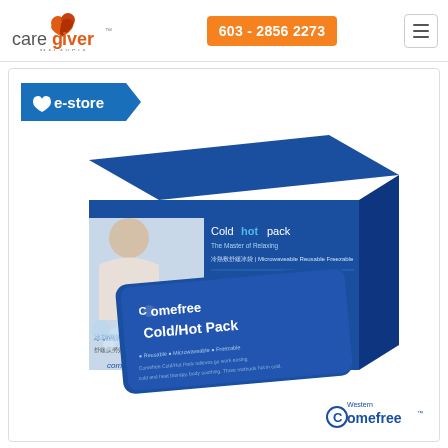[Figure (logo): Caregiver Malaysia logo with heart icon]
603 - 2856 2273
[Figure (other): Menu hamburger icon button]
[Figure (other): e-store banner badge with heart icon]
[Figure (photo): Comefree Cold/Hot Pack product box and gel pack. Box shows 'Coldhotpack - The Master of Relaxing, Microwaveable Reusable Freezable' with image of woman resting head on pillow. Blue gel pack labeled 'Comefree Cold/Hot Pack' visible in front.]
[Figure (logo): Western Comefree logo in bottom right corner]